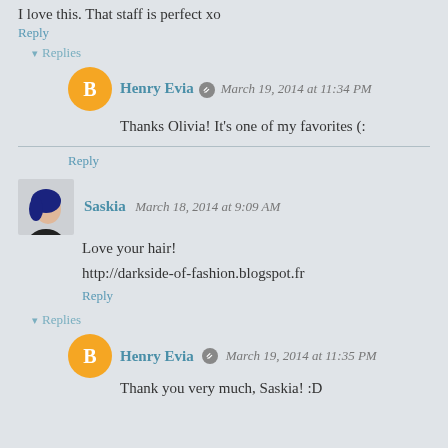I love this. That stuff is perfect xo
Reply
Replies
Henry Evia  March 19, 2014 at 11:34 PM
Thanks Olivia! It's one of my favorites (:
Reply
Saskia  March 18, 2014 at 9:09 AM
Love your hair!
http://darkside-of-fashion.blogspot.fr
Reply
Replies
Henry Evia  March 19, 2014 at 11:35 PM
Thank you very much, Saskia! :D